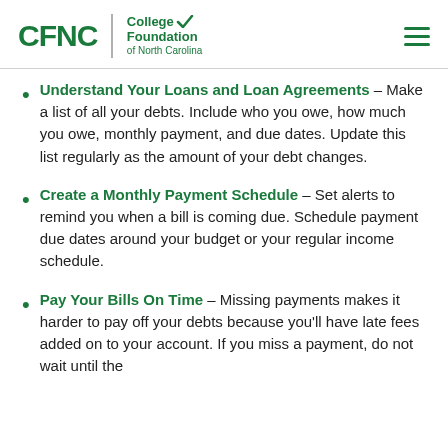CFNC | College Foundation of North Carolina
Understand Your Loans and Loan Agreements – Make a list of all your debts. Include who you owe, how much you owe, monthly payment, and due dates. Update this list regularly as the amount of your debt changes.
Create a Monthly Payment Schedule – Set alerts to remind you when a bill is coming due. Schedule payment due dates around your budget or your regular income schedule.
Pay Your Bills On Time – Missing payments makes it harder to pay off your debts because you'll have late fees added on to your account. If you miss a payment, do not wait until the